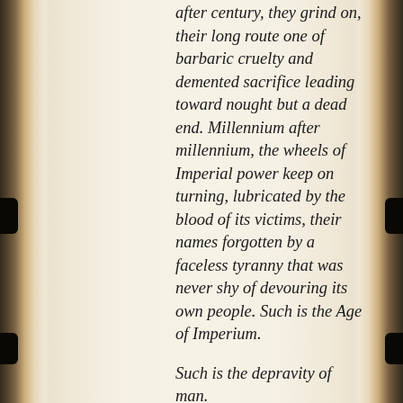after century, they grind on, their long route one of barbaric cruelty and demented sacrifice leading toward nought but a dead end. Millennium after millennium, the wheels of Imperial power keep on turning, lubricated by the blood of its victims, their names forgotten by a faceless tyranny that was never shy of devouring its own people. Such is the Age of Imperium.

Such is the depravity of man.